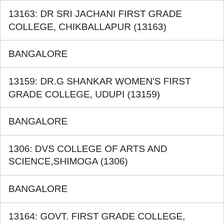| 13163: DR SRI JACHANI FIRST GRADE COLLEGE, CHIKBALLAPUR (13163) |
| BANGALORE |
| 13159: DR.G SHANKAR WOMEN'S FIRST GRADE COLLEGE, UDUPI (13159) |
| BANGALORE |
| 1306: DVS COLLEGE OF ARTS AND SCIENCE,SHIMOGA (1306) |
| BANGALORE |
| 13164: GOVT. FIRST GRADE COLLEGE, CHAMARAJ NAGAR (13164) |
| BANGALORE |
| 13162: GOVT. FIRST GRADE COLLEGE, DAVANAGARA (13162) |